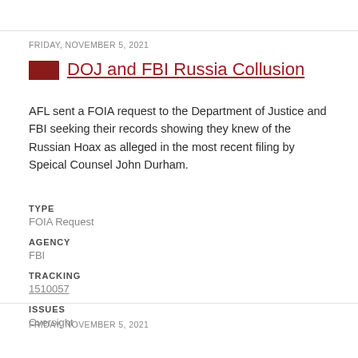FRIDAY, NOVEMBER 5, 2021
DOJ and FBI Russia Collusion
AFL sent a FOIA request to the Department of Justice and FBI seeking their records showing they knew of the Russian Hoax as alleged in the most recent filing by Speical Counsel John Durham.
TYPE
FOIA Request
AGENCY
FBI
TRACKING
1510057
ISSUES
Oversight
FRIDAY, NOVEMBER 5, 2021